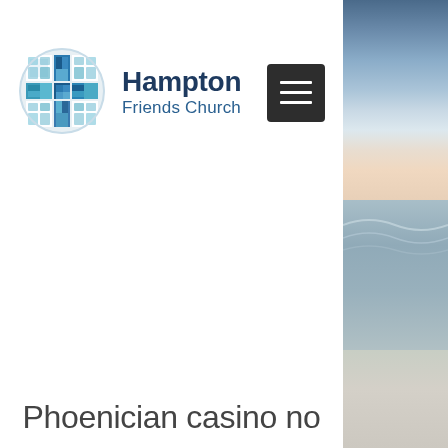[Figure (logo): Hampton Friends Church logo: circular stained-glass cross design in blue and teal tones]
Hampton
Friends Church
[Figure (other): Hamburger menu button (three horizontal white lines on dark gray/black square background)]
[Figure (photo): Beach scene photo: ocean with waves, sandy beach in the foreground, and a sunset/sunrise sky with clouds above the horizon, shown as a vertical strip on the right side of the page]
Phoenician casino no